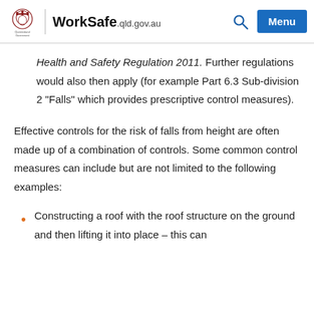WorkSafe.qld.gov.au
Health and Safety Regulation 2011. Further regulations would also then apply (for example Part 6.3 Sub-division 2 “Falls” which provides prescriptive control measures).
Effective controls for the risk of falls from height are often made up of a combination of controls. Some common control measures can include but are not limited to the following examples:
Constructing a roof with the roof structure on the ground and then lifting it into place – this can